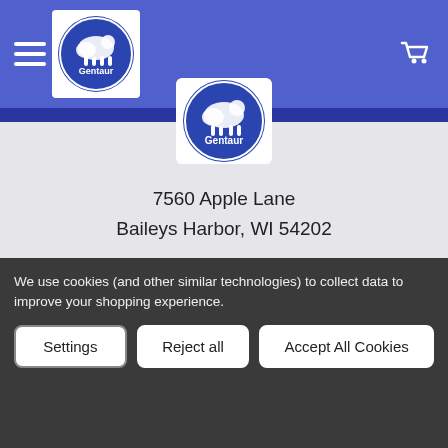[Figure (logo): Gentaur logo in header navigation bar with hamburger menu and cart icon]
[Figure (logo): Gentaur circular logo centered on the page]
7560 Apple Lane
Baileys Harbor, WI 54202

Call us at (718) 513-2983
We use cookies (and other similar technologies) to collect data to improve your shopping experience.
Settings
Reject all
Accept All Cookies